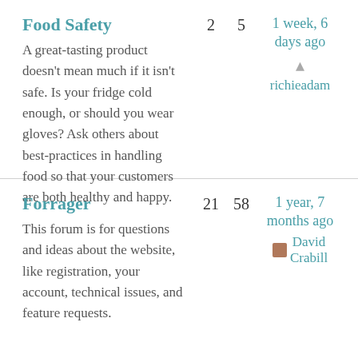Food Safety
A great-tasting product doesn't mean much if it isn't safe. Is your fridge cold enough, or should you wear gloves? Ask others about best-practices in handling food so that your customers are both healthy and happy.
2   5   1 week, 6 days ago   richieadam
Forrager
This forum is for questions and ideas about the website, like registration, your account, technical issues, and feature requests.
21   58   1 year, 7 months ago   David Crabill